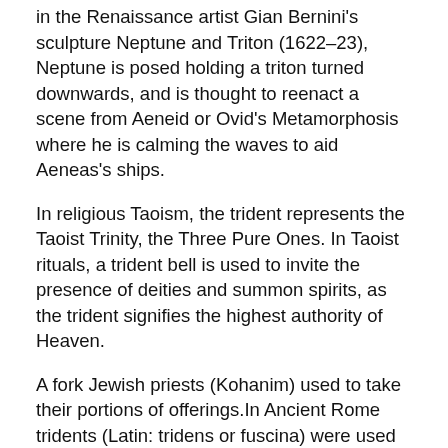in the Renaissance artist Gian Bernini's sculpture Neptune and Triton (1622–23), Neptune is posed holding a triton turned downwards, and is thought to reenact a scene from Aeneid or Ovid's Metamorphosis where he is calming the waves to aid Aeneas's ships.
In religious Taoism, the trident represents the Taoist Trinity, the Three Pure Ones. In Taoist rituals, a trident bell is used to invite the presence of deities and summon spirits, as the trident signifies the highest authority of Heaven.
A fork Jewish priests (Kohanim) used to take their portions of offerings.In Ancient Rome tridents (Latin: tridens or fuscina) were used by a type of gladiator called a retiarius or "net fighter". The retiarius was traditionally pitted against a secutor, and cast a net to wrap his adversary and then used the trident to kill him.
In this clipart you can download free PNG images: Trident